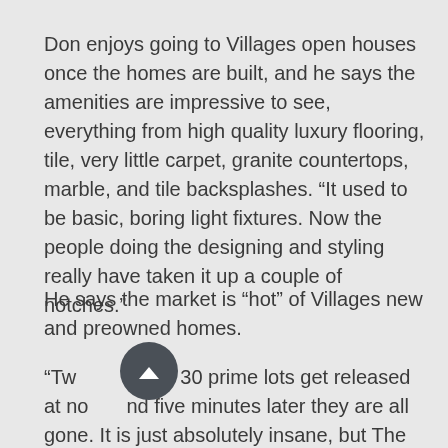Don enjoys going to Villages open houses once the homes are built, and he says the amenities are impressive to see, everything from high quality luxury flooring, tile, very little carpet, granite countertops, marble, and tile backsplashes. “It used to be basic, boring light fixtures. Now the people doing the designing and styling really have taken it up a couple of notches.”
He says the market is “hot” of Villages new and preowned homes.
“Twenty to 30 prime lots get released at noon and five minutes later they are all gone. It is just absolutely insane, but The